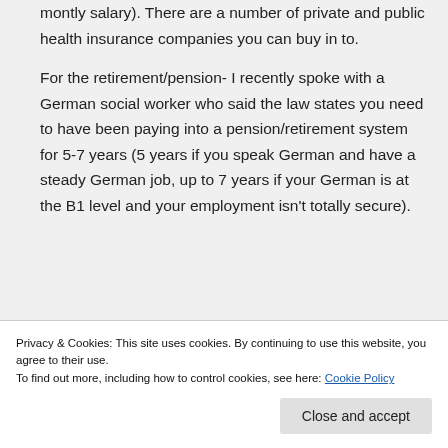montly salary). There are a number of private and public health insurance companies you can buy in to.
For the retirement/pension- I recently spoke with a German social worker who said the law states you need to have been paying into a pension/retirement system for 5-7 years (5 years if you speak German and have a steady German job, up to 7 years if your German is at the B1 level and your employment isn't totally secure).
Privacy & Cookies: This site uses cookies. By continuing to use this website, you agree to their use. To find out more, including how to control cookies, see here: Cookie Policy
aren't already in the system. Unlike the US